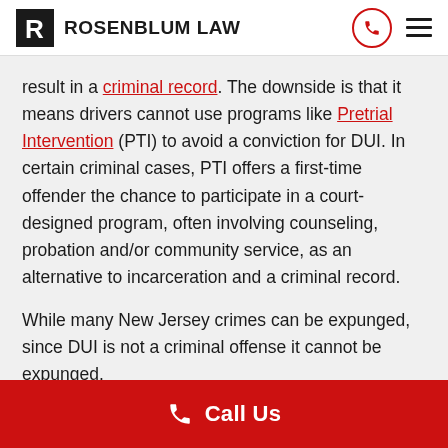ROSENBLUM LAW
result in a criminal record. The downside is that it means drivers cannot use programs like Pretrial Intervention (PTI) to avoid a conviction for DUI. In certain criminal cases, PTI offers a first-time offender the chance to participate in a court-designed program, often involving counseling, probation and/or community service, as an alternative to incarceration and a criminal record.
While many New Jersey crimes can be expunged, since DUI is not a criminal offense it cannot be expunged.
Alternative Dispositions
Call Us